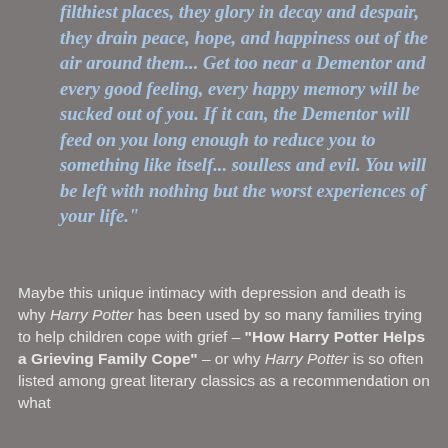filthiest places, they glory in decay and despair, they drain peace, hope, and happiness out of the air around them... Get too near a Dementor and every good feeling, every happy memory will be sucked out of you. If it can, the Dementor will feed on you long enough to reduce you to something like itself... soulless and evil. You will be left with nothing but the worst experiences of your life."
Maybe this unique intimacy with depression and death is why Harry Potter has been used by so many families trying to help children cope with grief – "How Harry Potter Helps a Grieving Family Cope" – or why Harry Potter is so often listed among great literary classics as a recommendation on what